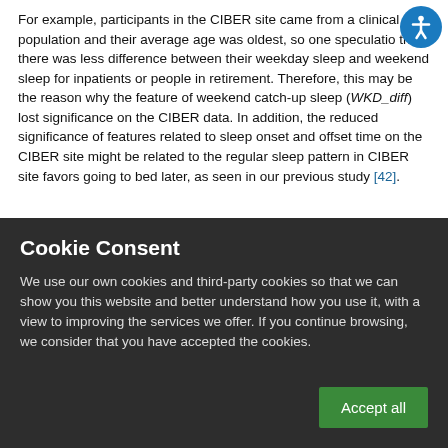For example, participants in the CIBER site came from a clinical population and their average age was oldest, so one speculation that there was less difference between their weekday sleep and weekend sleep for inpatients or people in retirement. Therefore, this may be the reason why the feature of weekend catch-up sleep (WKD_diff) lost significance on the CIBER data. In addition, the reduced significance of features related to sleep onset and offset time on the CIBER site might be related to the regular sleep pattern in CIBER site favors going to bed later, as seen in our previous study [42].
Cookie Consent
We use our own cookies and third-party cookies so that we can show you this website and better understand how you use it, with a view to improving the services we offer. If you continue browsing, we consider that you have accepted the cookies.